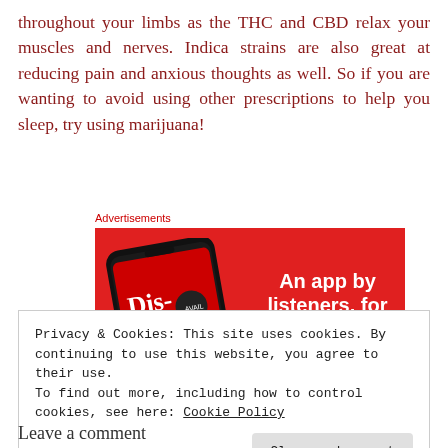throughout your limbs as the THC and CBD relax your muscles and nerves. Indica strains are also great at reducing pain and anxious thoughts as well. So if you are wanting to avoid using other prescriptions to help you sleep, try using marijuana!
Advertisements
[Figure (infographic): Red advertisement banner for a podcast app called 'Distributed'. Shows a smartphone with the app open on the left. On the right, bold white text reads 'An app by listeners, for listeners.' with a dark red 'Download now' button below.]
Privacy & Cookies: This site uses cookies. By continuing to use this website, you agree to their use.
To find out more, including how to control cookies, see here: Cookie Policy
Close and accept
Leave a comment